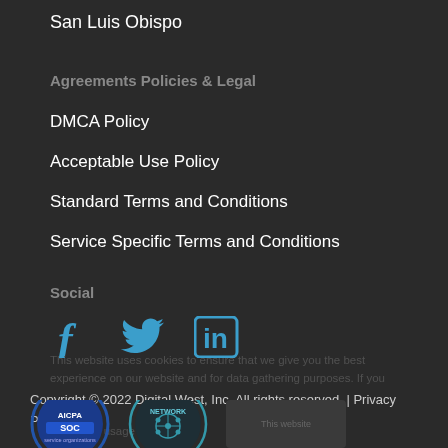San Luis Obispo
Agreements Policies & Legal
DMCA Policy
Acceptable Use Policy
Standard Terms and Conditions
Service Specific Terms and Conditions
Social
[Figure (other): Social media icons: Facebook, Twitter, LinkedIn in blue]
This website uses cookies to ensure that we give you the best experience on our website and for data gathering purposes. If you track your usage
Copyright © 2022 Digital West, Inc. All rights reserved. | Privacy Policy
[Figure (logo): AICPA SOC service organizations badge]
[Figure (logo): Network badge/seal]
[Figure (other): Blank/dark placeholder badge area]